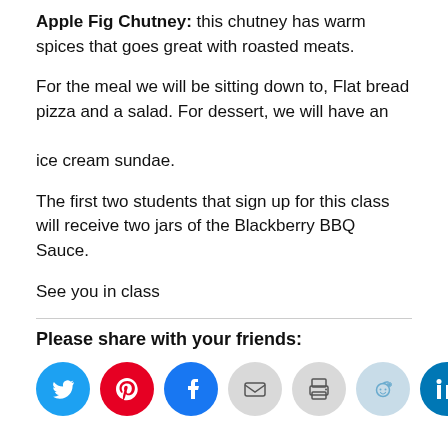Apple Fig Chutney: this chutney has warm spices that goes great with roasted meats.
For the meal we will be sitting down to, Flat bread pizza and a salad. For dessert, we will have an ice cream sundae.
The first two students that sign up for this class will receive two jars of the Blackberry BBQ Sauce.
See you in class
Please share with your friends:
[Figure (infographic): Row of seven social media share buttons: Twitter (blue), Pinterest (red), Facebook (blue), Email (gray), Print (gray), Reddit (light blue), LinkedIn (teal/dark blue)]